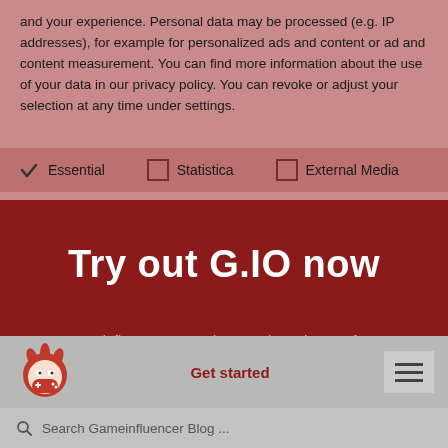and your experience. Personal data may be processed (e.g. IP addresses), for example for personalized ads and content or ad and content measurement. You can find more information about the use of your data in our privacy policy. You can revoke or adjust your selection at any time under settings.
✓ Essential   □ Statistica   □ External Media
Try out G.IO now
Create an influencer campaign, pay based on performance and purchase UA licensing seamlessly all through one automated service.
[Figure (logo): Gameinfluencer logo - red cartoon character with gamepad]
Get started
Search Gameinfluencer Blog ...